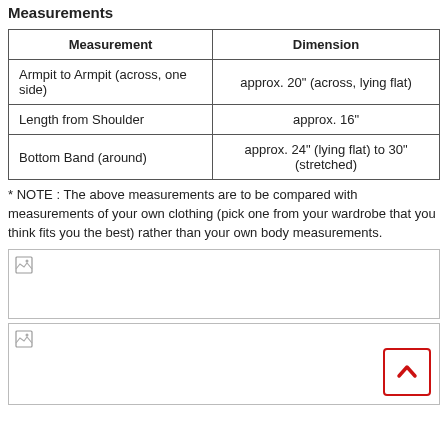Measurements
| Measurement | Dimension |
| --- | --- |
| Armpit to Armpit (across, one side) | approx. 20" (across, lying flat) |
| Length from Shoulder | approx. 16" |
| Bottom Band (around) | approx. 24" (lying flat) to 30" (stretched) |
* NOTE : The above measurements are to be compared with measurements of your own clothing (pick one from your wardrobe that you think fits you the best) rather than your own body measurements.
[Figure (photo): Broken image placeholder (product image 1)]
[Figure (photo): Broken image placeholder (product image 2)]